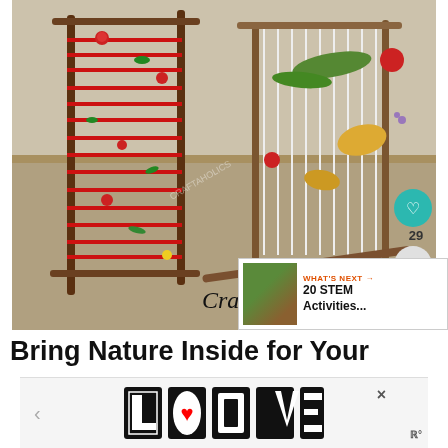[Figure (photo): Photo of nature craft looms made from sticks and yarn. Left loom has red yarn woven through with flowers and greenery. Right loom has white/clear string with leaves, flowers and natural materials. Items arranged on concrete steps.]
Craft
[Figure (screenshot): WHAT'S NEXT panel showing '20 STEM Activities...' with thumbnail]
Bring Nature Inside for Your
[Figure (illustration): Advertisement overlay showing decorative LOVE text in black and white patterned letters]